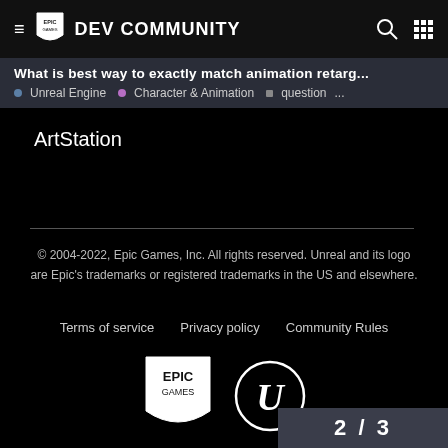Epic Games Dev Community
What is best way to exactly match animation retarg...
Unreal Engine · Character & Animation · question ...
ArtStation
© 2004-2022, Epic Games, Inc. All rights reserved. Unreal and its logo are Epic's trademarks or registered trademarks in the US and elsewhere.
Terms of service   Privacy policy   Community Rules
[Figure (logo): Epic Games logo and Unreal Engine logo]
2 / 3